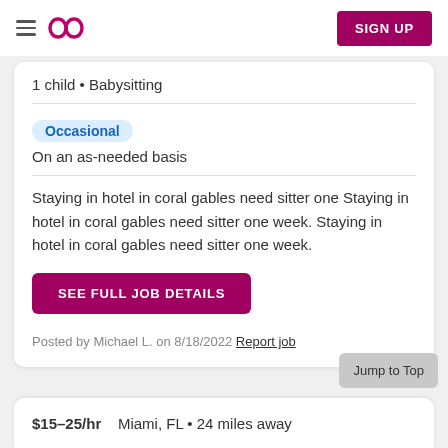Sittercity navigation bar with hamburger menu, logo, and SIGN UP button
1 child • Babysitting
Occasional
On an as-needed basis
Staying in hotel in coral gables need sitter one Staying in hotel in coral gables need sitter one week. Staying in hotel in coral gables need sitter one week.
SEE FULL JOB DETAILS
Posted by Michael L. on 8/18/2022  Report job
$15–25/hr    Miami, FL • 24 miles away